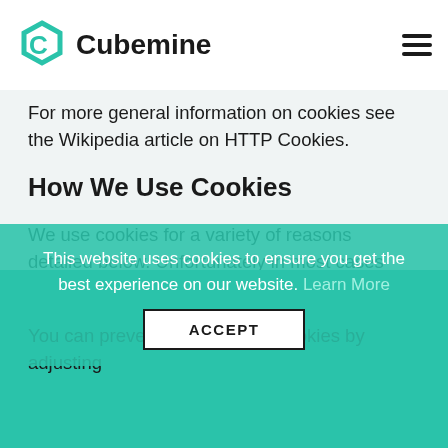Cubemine
For more general information on cookies see the Wikipedia article on HTTP Cookies.
How We Use Cookies
We use cookies for a variety of reasons detailed below. Unfortunately in most cases there are no industry standard options for disabling cookies without completely disabling the functionality and features they add to this site. It is recommended that you leave on all cookies if you are not sure whether you need them or not in case they are used to provide a service that you use.
Disabling Cookies
You can prevent the setting of cookies by adjusting
This website uses cookies to ensure you get the best experience on our website. Learn More